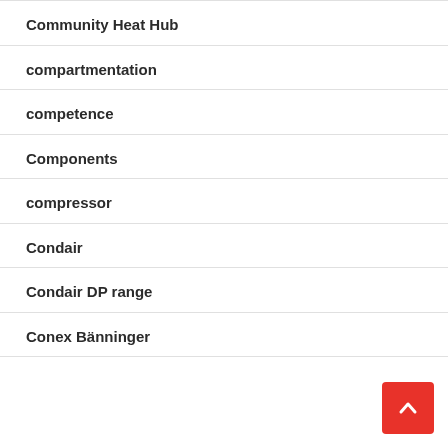Community Heat Hub
compartmentation
competence
Components
compressor
Condair
Condair DP range
Conex Bänninger